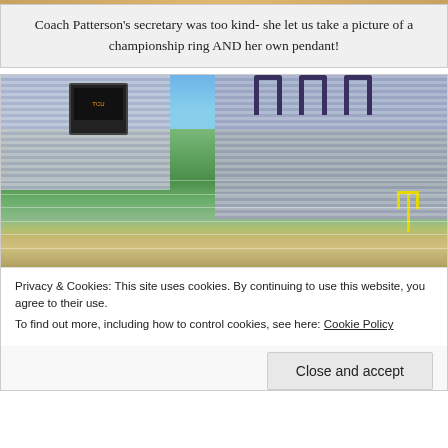Coach Patterson's secretary was too kind- she let us take a picture of a championship ring AND her own pendant!
[Figure (photo): Wide-angle photo of a college football stadium (TCU's Amon G. Carter Stadium) showing the green field, purple/gray seating sections, scoreboard, goalpost, and arch structures at the top of the upper deck, taken from an elevated angle on a sunny day.]
Privacy & Cookies: This site uses cookies. By continuing to use this website, you agree to their use.
To find out more, including how to control cookies, see here: Cookie Policy
Close and accept